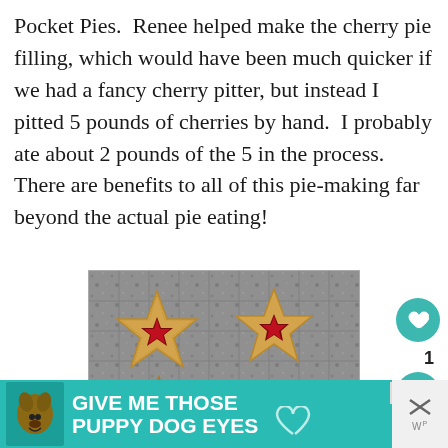Pocket Pies. Renee helped make the cherry pie filling, which would have been much quicker if we had a fancy cherry pitter, but instead I pitted 5 pounds of cherries by hand. I probably ate about 2 pounds of the 5 in the process. There are benefits to all of this pie-making far beyond the actual pie eating!
[Figure (photo): Star-shaped cherry pocket pies on a cooling rack, showing golden pastry with red cherry filling visible through star-shaped cutouts on top]
[Figure (other): Advertisement banner reading GIVE ME THOSE PUPPY DOG EYES with a dog photo on the left and a heart icon]